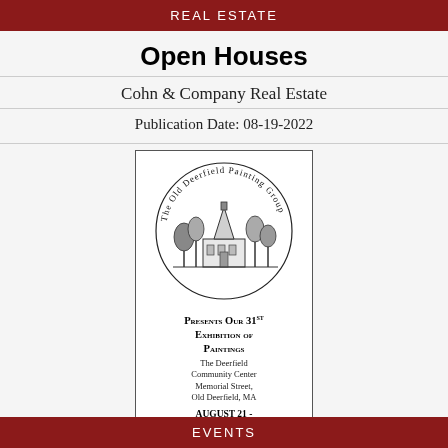REAL ESTATE
Open Houses
Cohn & Company Real Estate
Publication Date: 08-19-2022
[Figure (illustration): Advertisement for The Old Deerfield Painting Group presenting their 31st Exhibition of Paintings at The Deerfield Community Center, Memorial Street, Old Deerfield, MA. August 21 - August 28, 2022, 12:00-5:00pm. Reception: Sunday, August 21st from 2:00 - 4:30pm. Contact: olddeerﬁeldpaintinggroup@gmail.com, olddeerﬁeldpainting.wix.com/arts]
EVENTS